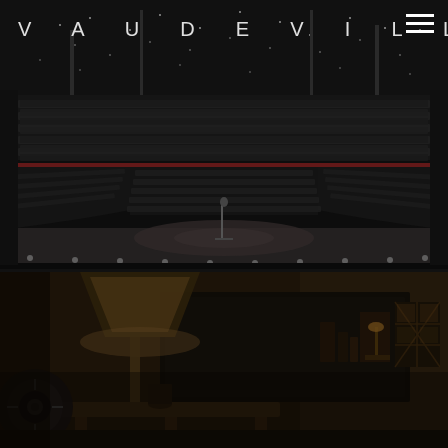VAUDEVILLE
[Figure (photo): Interior view of a large dark theatre/concert hall, shot from the stage looking out at rows of seats arranged in a horseshoe pattern. The hall has multiple tiers of seating, dramatic pendant lights hanging from the ceiling, red accents on the balcony edges, and a lone microphone stand on the empty stage floor. The atmosphere is dark and moody.]
[Figure (photo): Dark, warmly-lit interior room scene showing a lamp with a large shade in the foreground, wooden furniture, a large dark panel or screen, decorative items on shelves, and warm ambient lighting creating a cozy lounge or home interior atmosphere.]